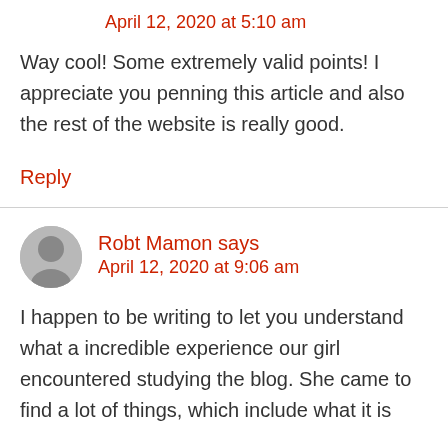April 12, 2020 at 5:10 am
Way cool! Some extremely valid points! I appreciate you penning this article and also the rest of the website is really good.
Reply
Robt Mamon says
April 12, 2020 at 9:06 am
I happen to be writing to let you understand what a incredible experience our girl encountered studying the blog. She came to find a lot of things, which include what it is